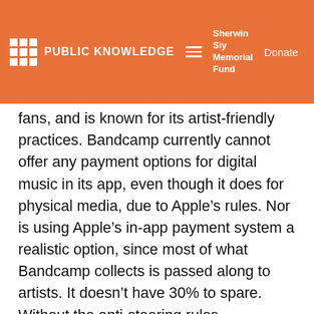PUBLIC KNOWLEDGE | Sherwin Siy Memorial Fund | Donate
fans, and is known for its artist-friendly practices. Bandcamp currently cannot offer any payment options for digital music in its app, even though it does for physical media, due to Apple’s rules. Nor is using Apple’s in-app payment system a realistic option, since most of what Bandcamp collects is passed along to artists. It doesn’t have 30% to spare. Without the anti-steering rules, Bandcamp will be able to provide a purchase link for each song or album, and